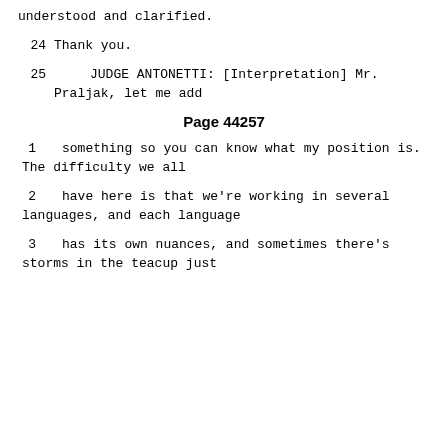understood and clarified.
24      Thank you.
25            JUDGE ANTONETTI: [Interpretation] Mr. Praljak, let me add
Page 44257
1      something so you can know what my position is. The difficulty we all
2      have here is that we're working in several languages, and each language
3      has its own nuances, and sometimes there's storms in the teacup just